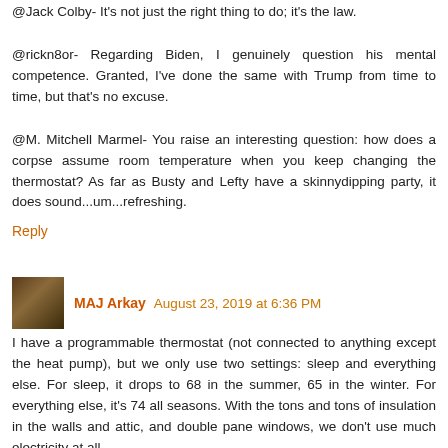@Jack Colby- It's not just the right thing to do; it's the law.
@rickn8or- Regarding Biden, I genuinely question his mental competence. Granted, I've done the same with Trump from time to time, but that's no excuse.
@M. Mitchell Marmel- You raise an interesting question: how does a corpse assume room temperature when you keep changing the thermostat? As far as Busty and Lefty have a skinnydipping party, it does sound...um...refreshing.
Reply
MAJ Arkay  August 23, 2019 at 6:36 PM
I have a programmable thermostat (not connected to anything except the heat pump), but we only use two settings: sleep and everything else. For sleep, it drops to 68 in the summer, 65 in the winter. For everything else, it's 74 all seasons. With the tons and tons of insulation in the walls and attic, and double pane windows, we don't use much electricity at all.